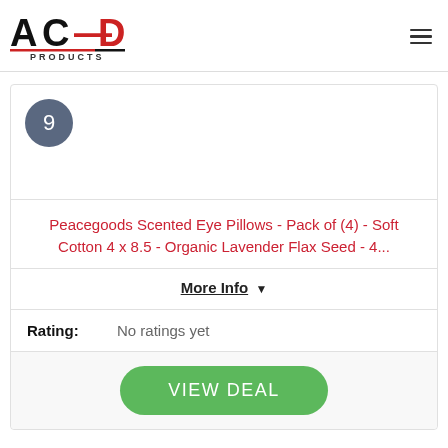[Figure (logo): ACED Products logo — stylized text with black A, C, E and red D, red/black underline, PRODUCTS text below]
9
Peacegoods Scented Eye Pillows - Pack of (4) - Soft Cotton 4 x 8.5 - Organic Lavender Flax Seed - 4...
More Info ▼
Rating: No ratings yet
VIEW DEAL